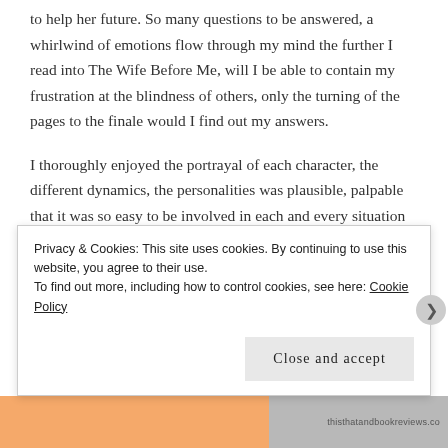to help her future. So many questions to be answered, a whirlwind of emotions flow through my mind the further I read into The Wife Before Me, will I be able to contain my frustration at the blindness of others, only the turning of the pages to the finale would I find out my answers.
I thoroughly enjoyed the portrayal of each character, the different dynamics, the personalities was plausible, palpable that it was so easy to be involved in each and every situation they found themselves in. Nicholas was painted as a Jekyll and Hyde type of
Privacy & Cookies: This site uses cookies. By continuing to use this website, you agree to their use.
To find out more, including how to control cookies, see here: Cookie Policy
Close and accept